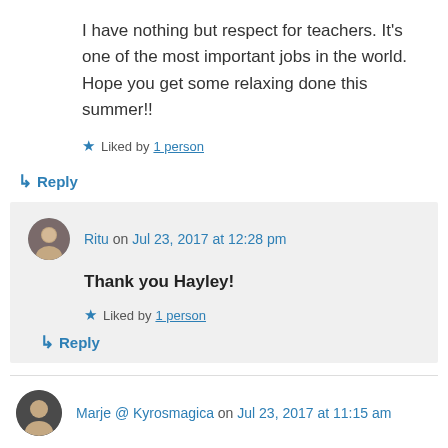I have nothing but respect for teachers. It's one of the most important jobs in the world. Hope you get some relaxing done this summer!!
★ Liked by 1 person
↳ Reply
Ritu on Jul 23, 2017 at 12:28 pm
Thank you Hayley!
★ Liked by 1 person
↳ Reply
Marje @ Kyrosmagica on Jul 23, 2017 at 11:15 am